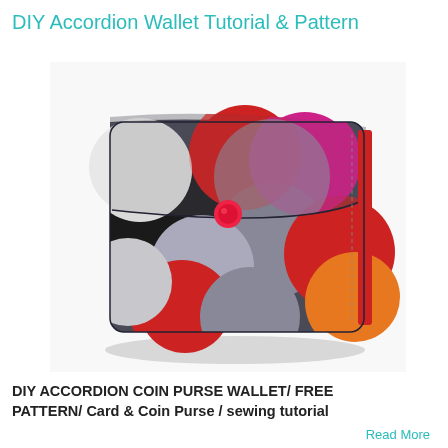DIY Accordion Wallet Tutorial & Pattern
[Figure (photo): A colorful accordion-style coin purse wallet made from fabric with a bold geometric circle pattern in red, pink, magenta, grey, black, white, and orange. The wallet has a flap closure secured with a red snap button. The fabric features overlapping petal/circle shapes on a dark grey background.]
DIY ACCORDION COIN PURSE WALLET/ FREE PATTERN/ Card & Coin Purse / sewing tutorial
Read More